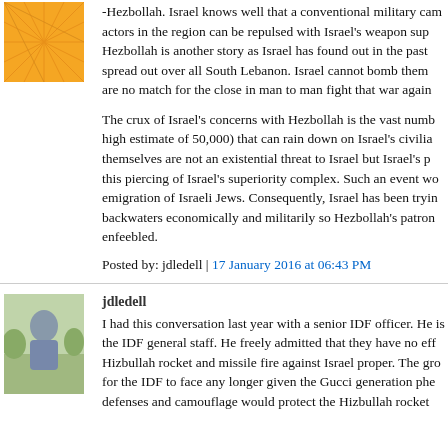[Figure (illustration): Orange geometric avatar icon with triangle/web pattern]
-Hezbollah. Israel knows well that a conventional military campaign actors in the region can be repulsed with Israel's weapon sup Hezbollah is another story as Israel has found out in the past spread out over all South Lebanon. Israel cannot bomb them are no match for the close in man to man fight that war again
The crux of Israel's concerns with Hezbollah is the vast numb high estimate of 50,000) that can rain down on Israel's civilia themselves are not an existential threat to Israel but Israel's p this piercing of Israel's superiority complex. Such an event wo emigration of Israeli Jews. Consequently, Israel has been tryin backwaters economically and militarily so Hezbollah's patron enfeebled.
Posted by: jdledell | 17 January 2016 at 06:43 PM
[Figure (photo): Photo of a man standing outdoors, profile avatar for jdledell]
jdledell
I had this conversation last year with a senior IDF officer. He is the IDF general staff. He freely admitted that they have no eff Hizbullah rocket and missile fire against Israel proper. The gro for the IDF to face any longer given the Gucci generation phe defenses and camouflage would protect the Hizbullah rocket